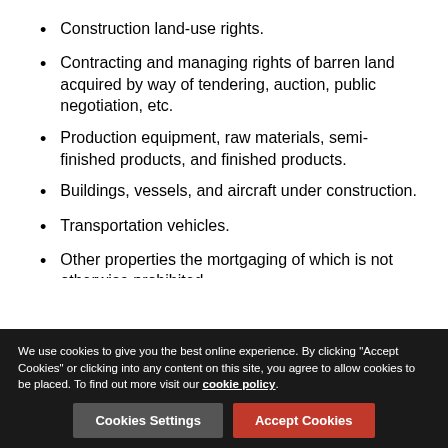Construction land-use rights.
Contracting and managing rights of barren land acquired by way of tendering, auction, public negotiation, etc.
Production equipment, raw materials, semi-finished products, and finished products.
Buildings, vessels, and aircraft under construction.
Transportation vehicles.
Other properties the mortgaging of which is not otherwise prohibited.
Accordingly, property (either immovable or movable) may be mortgaged by written mortgage contracts unless otherwise prohibited by law and administrative regulation. Mortgage of
We use cookies to give you the best online experience. By clicking "Accept Cookies" or clicking into any content on this site, you agree to allow cookies to be placed. To find out more visit our cookie policy.